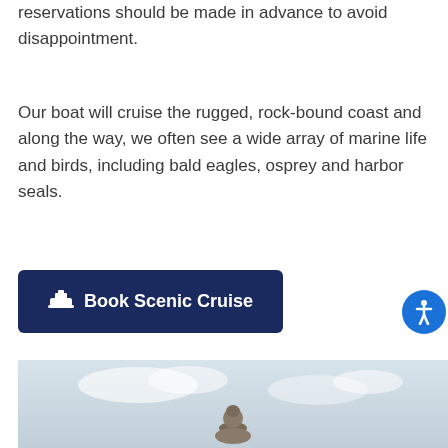reservations should be made in advance to avoid disappointment.
Our boat will cruise the rugged, rock-bound coast and along the way, we often see a wide array of marine life and birds, including bald eagles, osprey and harbor seals.
[Figure (other): Dark navy button with boat/ship icon labeled 'Book Scenic Cruise']
[Figure (photo): Photo of a person seen from behind looking out at a cloudy sky over water]